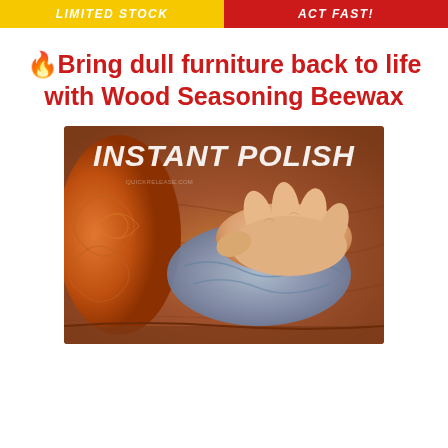LIMITED STOCK  ACT FAST!
🔥Bring dull furniture back to life with Wood Seasoning Beewax
[Figure (photo): A hand using a blue cloth to polish an ornately carved wooden surface with warm brown tones. White overlay text reads 'INSTANT POLISH'.]